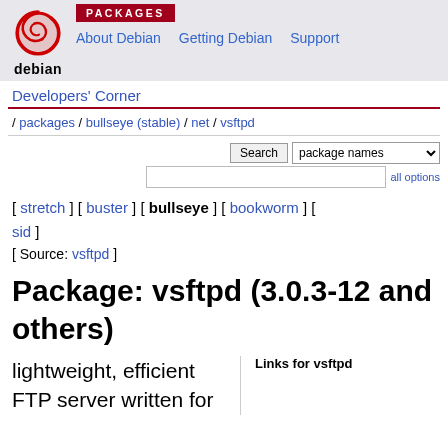[Figure (logo): Debian swirl logo with 'debian' text below]
PACKAGES | About Debian  Getting Debian  Support
Developers' Corner
/ packages / bullseye (stable) / net / vsftpd
[ stretch ] [ buster ] [ bullseye ] [ bookworm ] [ sid ]
[ Source: vsftpd ]
Package: vsftpd (3.0.3-12 and others)
lightweight, efficient FTP server written for
Links for vsftpd